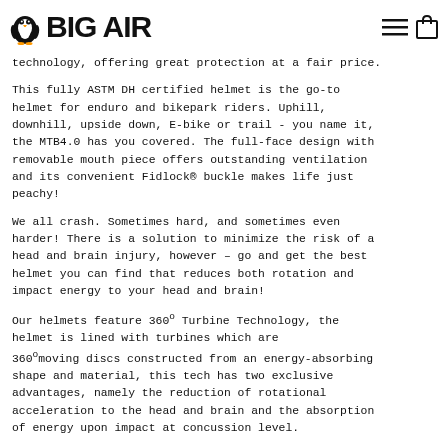BIG AIR
technology, offering great protection at a fair price.
This fully ASTM DH certified helmet is the go-to helmet for enduro and bikepark riders. Uphill, downhill, upside down, E-bike or trail - you name it, the MTB4.0 has you covered. The full-face design with removable mouth piece offers outstanding ventilation and its convenient Fidlock® buckle makes life just peachy!
We all crash. Sometimes hard, and sometimes even harder! There is a solution to minimize the risk of a head and brain injury, however – go and get the best helmet you can find that reduces both rotation and impact energy to your head and brain!
Our helmets feature 360° Turbine Technology, the helmet is lined with turbines which are 360°moving discs constructed from an energy-absorbing shape and material, this tech has two exclusive advantages, namely the reduction of rotational acceleration to the head and brain and the absorption of energy upon impact at concussion level.